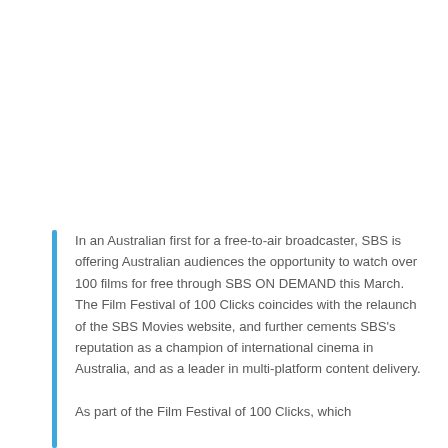In an Australian first for a free-to-air broadcaster, SBS is offering Australian audiences the opportunity to watch over 100 films for free through SBS ON DEMAND this March. The Film Festival of 100 Clicks coincides with the relaunch of the SBS Movies website, and further cements SBS's reputation as a champion of international cinema in Australia, and as a leader in multi-platform content delivery. As part of the Film Festival of 100 Clicks, which